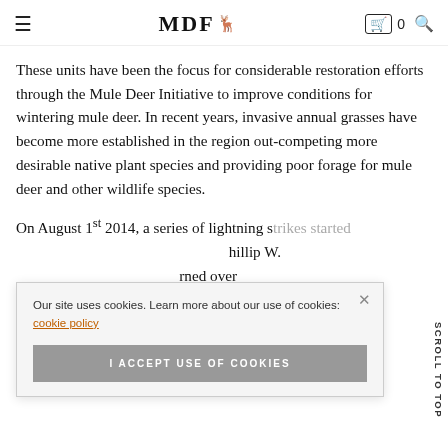MDF [logo with deer]
These units have been the focus for considerable restoration efforts through the Mule Deer Initiative to improve conditions for wintering mule deer. In recent years, invasive annual grasses have become more established in the region out-competing more desirable native plant species and providing poor forage for mule deer and other wildlife species.
On August 1st 2014, a series of lightning strikes started ... Phillip W. ... rned over ... e and Private ... fire, invasive annual grass species gain the competitive advantage on
Our site uses cookies. Learn more about our use of cookies: cookie policy
I ACCEPT USE OF COOKIES